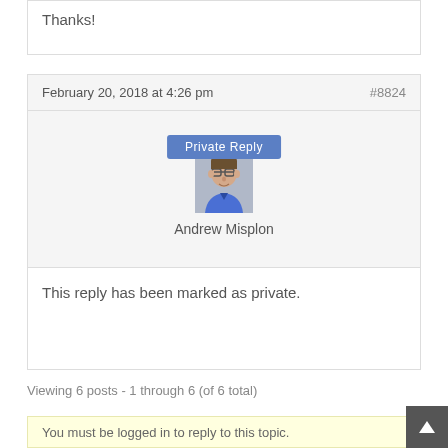Thanks!
February 20, 2018 at 4:26 pm   #8824
[Figure (photo): Private Reply button above avatar photo of Andrew Misplon, a man with glasses wearing a blue shirt]
Andrew Misplon
This reply has been marked as private.
Viewing 6 posts - 1 through 6 (of 6 total)
You must be logged in to reply to this topic.